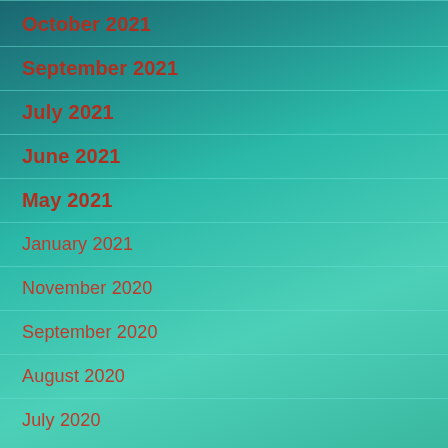October 2021
September 2021
July 2021
June 2021
May 2021
January 2021
November 2020
September 2020
August 2020
July 2020